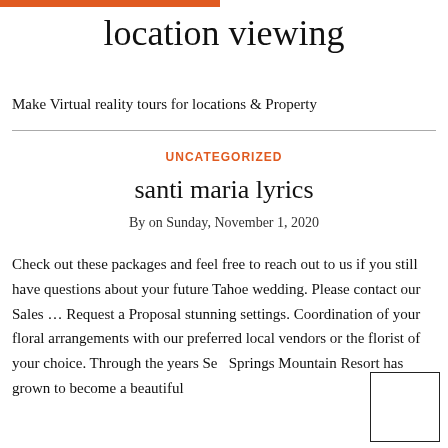location viewing
Make Virtual reality tours for locations & Property
UNCATEGORIZED
santi maria lyrics
By on Sunday, November 1, 2020
Check out these packages and feel free to reach out to us if you still have questions about your future Tahoe wedding. Please contact our Sales … Request a Proposal stunning settings. Coordination of your floral arrangements with our preferred local vendors or the florist of your choice. Through the years Se… Springs Mountain Resort has grown to become a beautiful